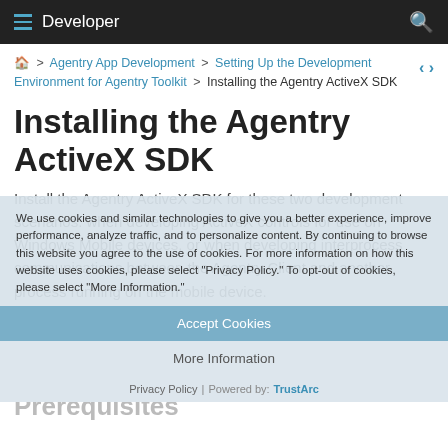Developer
Home > Agentry App Development > Setting Up the Development Environment for Agentry Toolkit > Installing the Agentry ActiveX SDK
Installing the Agentry ActiveX SDK
Install the Agentry ActiveX SDK for these two development scenarios: when developing ActiveX controls for use on Windows Mobile devices, or when developing interprocess communications between the Agentry Client and another process running on the mobile device.
We use cookies and similar technologies to give you a better experience, improve performance, analyze traffic, and to personalize content. By continuing to browse this website you agree to the use of cookies. For more information on how this website uses cookies, please select "Privacy Policy." To opt-out of cookies, please select "More Information."
Accept Cookies
More Information
Privacy Policy | Powered by: TrustArc
Prerequisites